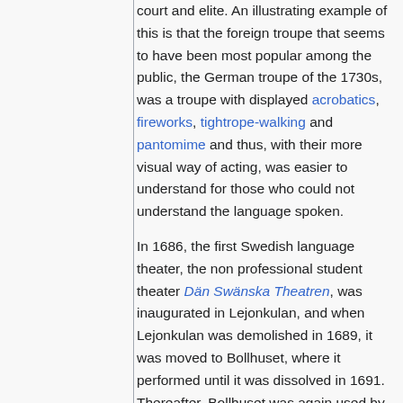court and elite. An illustrating example of this is that the foreign troupe that seems to have been most popular among the public, the German troupe of the 1730s, was a troupe with displayed acrobatics, fireworks, tightrope-walking and pantomime and thus, with their more visual way of acting, was easier to understand for those who could not understand the language spoken.
In 1686, the first Swedish language theater, the non professional student theater Dän Swänska Theatren, was inaugurated in Lejonkulan, and when Lejonkulan was demolished in 1689, it was moved to Bollhuset, where it performed until it was dissolved in 1691. Thereafter, Bollhuset was again used by foreign theater companies in parallel to the Lilla Bollhuset.